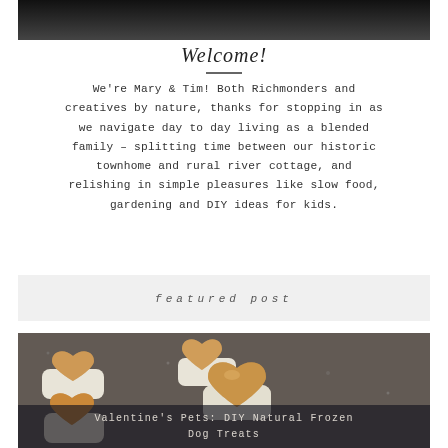[Figure (photo): Top portion of a photo showing a person in dark clothing, partially cropped]
Welcome!
We're Mary & Tim! Both Richmonders and creatives by nature, thanks for stopping in as we navigate day to day living as a blended family – splitting time between our historic townhome and rural river cottage, and relishing in simple pleasures like slow food, gardening and DIY ideas for kids.
featured post
[Figure (photo): Heart-shaped frozen dog treats made with peanut butter and yogurt layers, shown on a dark surface]
Valentine's Pets: DIY Natural Frozen Dog Treats